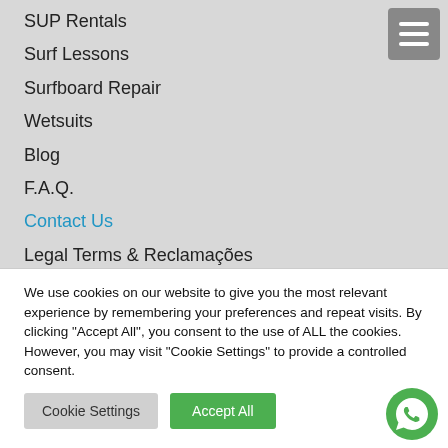SUP Rentals
Surf Lessons
Surfboard Repair
Wetsuits
Blog
F.A.Q.
Contact Us
Legal Terms & Reclamações
We use cookies on our website to give you the most relevant experience by remembering your preferences and repeat visits. By clicking "Accept All", you consent to the use of ALL the cookies. However, you may visit "Cookie Settings" to provide a controlled consent.